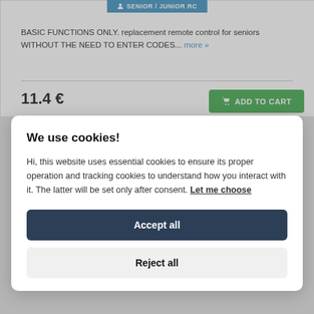[Figure (screenshot): Product badge button reading 'SENIOR / JUNIOR RC' in blue background with person icon]
BASIC FUNCTIONS ONLY. replacement remote control for seniors WITHOUT THE NEED TO ENTER CODES... more »
11.4 €
ADD TO CART
We use cookies!
Hi, this website uses essential cookies to ensure its proper operation and tracking cookies to understand how you interact with it. The latter will be set only after consent. Let me choose
Accept all
Reject all